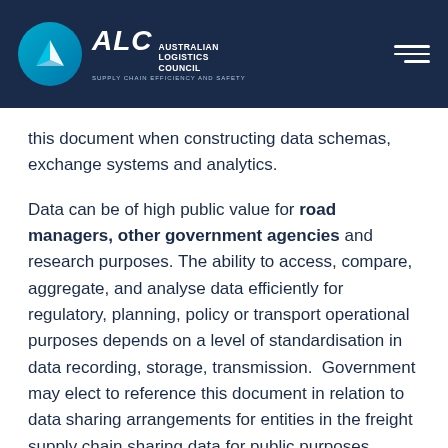ALC Australian Logistics Council — Supply Chain Efficiency and Safety
this document when constructing data schemas, exchange systems and analytics.
Data can be of high public value for road managers, other government agencies and research purposes. The ability to access, compare, aggregate, and analyse data efficiently for regulatory, planning, policy or transport operational purposes depends on a level of standardisation in data recording, storage, transmission.  Government may elect to reference this document in relation to data sharing arrangements for entities in the freight supply chain sharing data for public purposes.